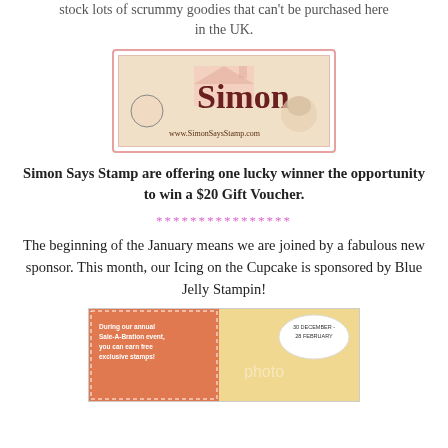stock lots of scrummy goodies that can't be purchased here in the UK.
[Figure (logo): Simon Says Stamp logo with cartoon characters and URL www.SimonSaysStamp.com, pink border]
Simon Says Stamp are offering one lucky winner the opportunity to win a $20 Gift Voucher.
****************
The beginning of the January means we are joined by a fabulous new sponsor. This month, our Icing on the Cupcake is sponsored by Blue Jelly Stampin!
[Figure (photo): Blue Jelly Stampin banner ad showing Sale-A-Bration event, person, and 30 December - 28 February dates]